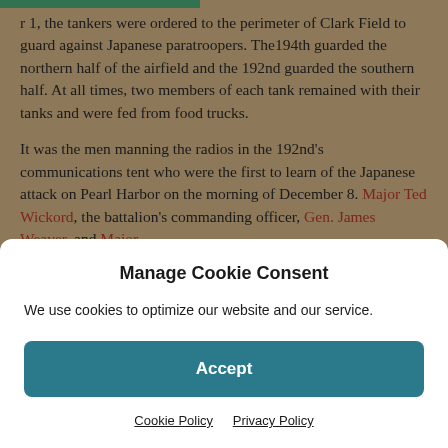r 1, the tankers were ordered to the perimeter of Clark Field to guard against Japanese paratroopers. The194th guarded the northern half of the airfield and the 192nd guarded the southern half. At all times, two members of each tank remained with their tanks and were fed from food trucks.
It was the men manning the radios in the 192nd's communications tent who were the first to learn of the Japanese attack on Pearl Harbor on the morning of December 8. Major Ted Wickord, the battalion's commanding officer, Gen. James Weaver, and Major
Manage Cookie Consent
We use cookies to optimize our website and our service.
Accept
Cookie Policy   Privacy Policy